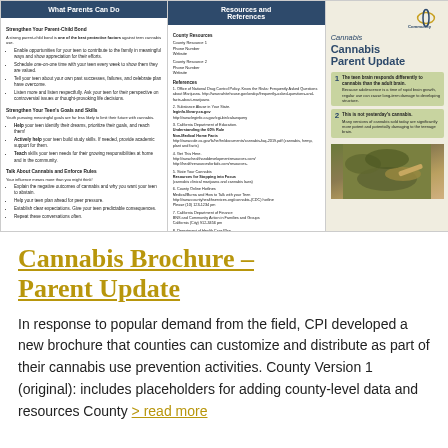[Figure (illustration): Cannabis Parent Update brochure showing three panels: 'What Parents Can Do', 'Resources and References', and a right panel with the Cannabis Parent Update title, two fact boxes about teen brain and cannabis potency, a CPI logo, and a photo of cannabis.]
Cannabis Brochure – Parent Update
In response to popular demand from the field, CPI developed a new brochure that counties can customize and distribute as part of their cannabis use prevention activities. County Version 1 (original): includes placeholders for adding county-level data and resources County > read more